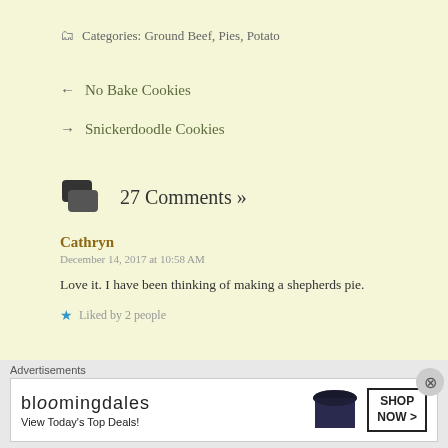Categories: Ground Beef, Pies, Potato
← No Bake Cookies
→ Snickerdoodle Cookies
27 Comments »
Cathryn
December 14, 2017 at 10:58 AM
Love it. I have been thinking of making a shepherds pie.
Liked by 2 people
Advertisements
[Figure (other): Bloomingdales advertisement banner: 'bloomingdales View Today's Top Deals! SHOP NOW >']